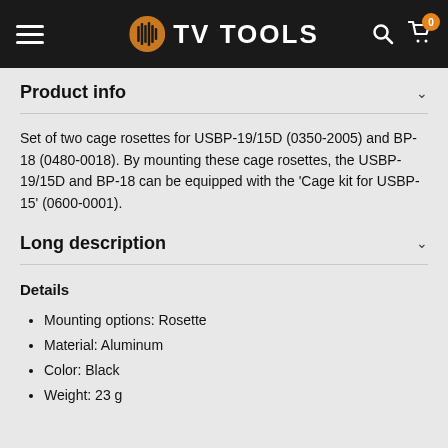TV TOOLS
Product info
Set of two cage rosettes for USBP-19/15D (0350-2005) and BP-18 (0480-0018). By mounting these cage rosettes, the USBP-19/15D and BP-18 can be equipped with the 'Cage kit for USBP-15' (0600-0001).
Long description
Details
Mounting options: Rosette
Material: Aluminum
Color: Black
Weight: 23 g